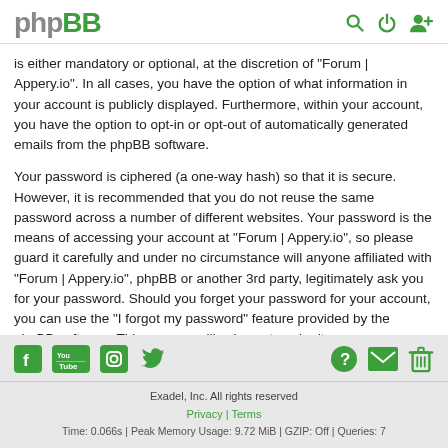phpBB [logo] with search, power, and user icons
is either mandatory or optional, at the discretion of "Forum | Appery.io". In all cases, you have the option of what information in your account is publicly displayed. Furthermore, within your account, you have the option to opt-in or opt-out of automatically generated emails from the phpBB software.
Your password is ciphered (a one-way hash) so that it is secure. However, it is recommended that you do not reuse the same password across a number of different websites. Your password is the means of accessing your account at "Forum | Appery.io", so please guard it carefully and under no circumstance will anyone affiliated with "Forum | Appery.io", phpBB or another 3rd party, legitimately ask you for your password. Should you forget your password for your account, you can use the "I forgot my password" feature provided by the phpBB software. This process will ask you to submit your user name and your email, then the phpBB software will generate a new password to reclaim your account.
Social icons (Facebook, YouTube, Instagram, Twitter) | Help, Email, Delete icons | Exadel, Inc. All rights reserved | Privacy | Terms | Time: 0.066s | Peak Memory Usage: 9.72 MiB | GZIP: Off | Queries: 7